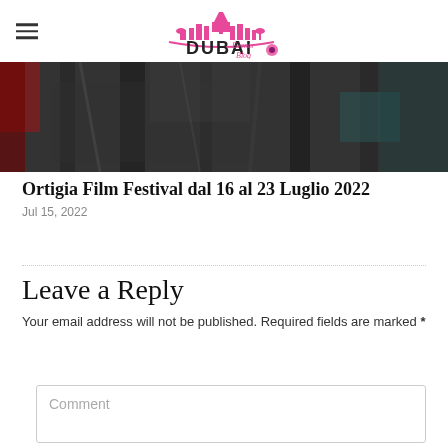Dubai Events Blog
[Figure (photo): Dark abstract image with red accent, appears to be a festival or artistic photograph used as article hero image]
Ortigia Film Festival dal 16 al 23 Luglio 2022
Jul 15, 2022
Leave a Reply
Your email address will not be published. Required fields are marked *
Comment